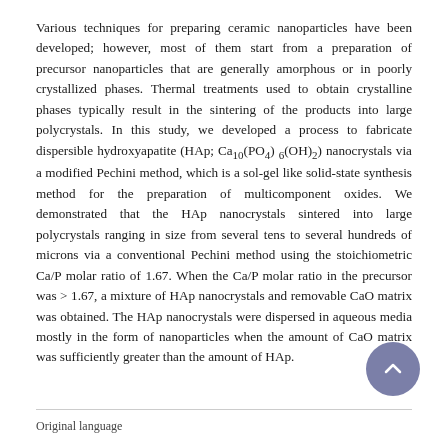Various techniques for preparing ceramic nanoparticles have been developed; however, most of them start from a preparation of precursor nanoparticles that are generally amorphous or in poorly crystallized phases. Thermal treatments used to obtain crystalline phases typically result in the sintering of the products into large polycrystals. In this study, we developed a process to fabricate dispersible hydroxyapatite (HAp; Ca10(PO4)6(OH)2) nanocrystals via a modified Pechini method, which is a sol-gel like solid-state synthesis method for the preparation of multicomponent oxides. We demonstrated that the HAp nanocrystals sintered into large polycrystals ranging in size from several tens to several hundreds of microns via a conventional Pechini method using the stoichiometric Ca/P molar ratio of 1.67. When the Ca/P molar ratio in the precursor was > 1.67, a mixture of HAp nanocrystals and removable CaO matrix was obtained. The HAp nanocrystals were dispersed in aqueous media mostly in the form of nanoparticles when the amount of CaO matrix was sufficiently greater than the amount of HAp.
Original language